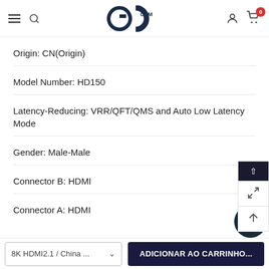GG OEM logo, navigation header with hamburger menu, search, user icon, cart (0)
Origin: CN(Origin)
Model Number: HD150
Latency-Reducing: VRR/QFT/QMS and Auto Low Latency Mode
Gender: Male-Male
Connector B: HDMI
Connector A: HDMI
8K HDMI2.1 / China ... | ADICIONAR AO CARRINHO...